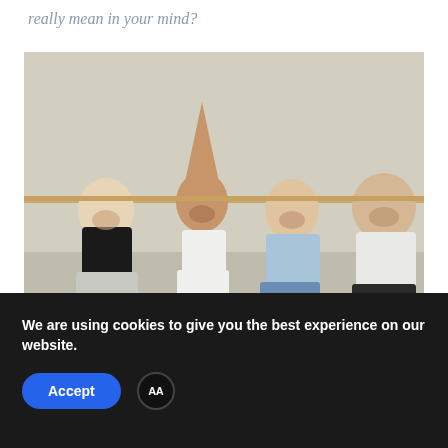really mean in your mind?
[Figure (photo): Four young women laughing and posing together against a light beige/grey wall. One woman has her arm raised holding a horizontal bar. They appear joyful and are dressed casually.]
We are using cookies to give you the best experience on our website.
Accept